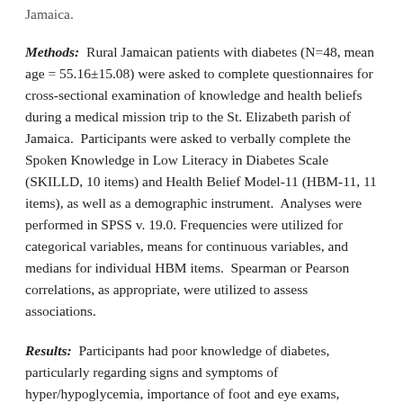Jamaica.
Methods:  Rural Jamaican patients with diabetes (N=48, mean age = 55.16±15.08) were asked to complete questionnaires for cross-sectional examination of knowledge and health beliefs during a medical mission trip to the St. Elizabeth parish of Jamaica.  Participants were asked to verbally complete the Spoken Knowledge in Low Literacy in Diabetes Scale (SKILLD, 10 items) and Health Belief Model-11 (HBM-11, 11 items), as well as a demographic instrument.  Analyses were performed in SPSS v. 19.0. Frequencies were utilized for categorical variables, means for continuous variables, and medians for individual HBM items.  Spearman or Pearson correlations, as appropriate, were utilized to assess associations.
Results:  Participants had poor knowledge of diabetes, particularly regarding signs and symptoms of hyper/hypoglycemia, importance of foot and eye exams,